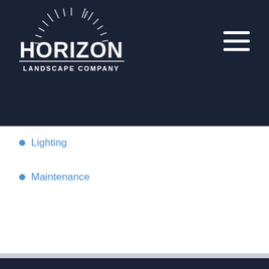[Figure (logo): Horizon Landscape Company logo with sunburst rays above the text, white on dark navy background, top-left of header]
[Figure (other): Hamburger menu icon (three horizontal white lines) in top-right of dark header]
Lighting
Maintenance
[Figure (logo): Horizon Landscape Company logo with sunburst rays, white text on dark navy background, centered in footer section]
The Earth is the Lord's, and everything in it. (Psalm 24)